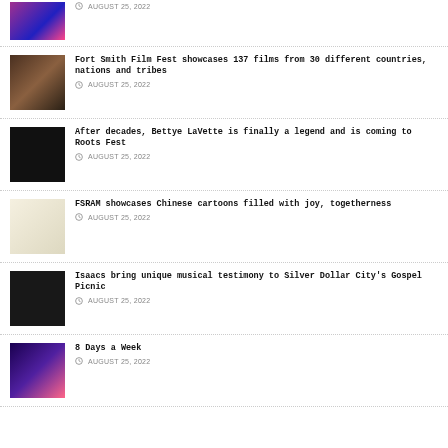[Figure (photo): Thumbnail image of colorful concert/event scene with purple/pink tones]
AUGUST 25, 2022
[Figure (photo): Thumbnail image of person at podium speaking]
Fort Smith Film Fest showcases 137 films from 30 different countries, nations and tribes
AUGUST 25, 2022
[Figure (photo): Thumbnail image of performer singing with microphone on dark background]
After decades, Bettye LaVette is finally a legend and is coming to Roots Fest
AUGUST 25, 2022
[Figure (photo): Thumbnail image of Chinese cartoon illustration with birds/animals]
FSRAM showcases Chinese cartoons filled with joy, togetherness
AUGUST 25, 2022
[Figure (photo): Thumbnail image of group of people at event on dark background]
Isaacs bring unique musical testimony to Silver Dollar City's Gospel Picnic
AUGUST 25, 2022
[Figure (photo): Thumbnail image of colorful concert scene with blue/purple tones]
8 Days a Week
AUGUST 25, 2022